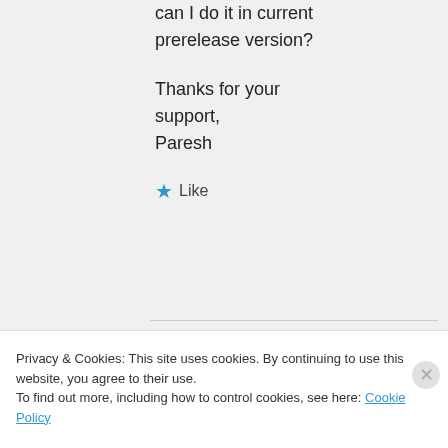can I do it in current prerelease version?

Thanks for your support,
Paresh
★ Like
moozzyk on May 18,
Privacy & Cookies: This site uses cookies. By continuing to use this website, you agree to their use.
To find out more, including how to control cookies, see here: Cookie Policy
Close and accept